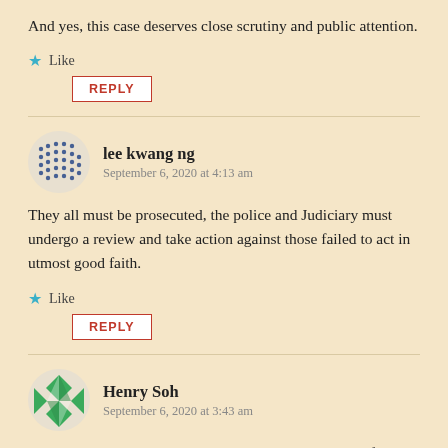And yes, this case deserves close scrutiny and public attention.
Like
REPLY
lee kwang ng
September 6, 2020 at 4:13 am
They all must be prosecuted, the police and Judiciary must undergo a review and take action against those failed to act in utmost good faith.
Like
REPLY
Henry Soh
September 6, 2020 at 3:43 am
Wow .. how can he accuse someone, espacially a maid for stealing